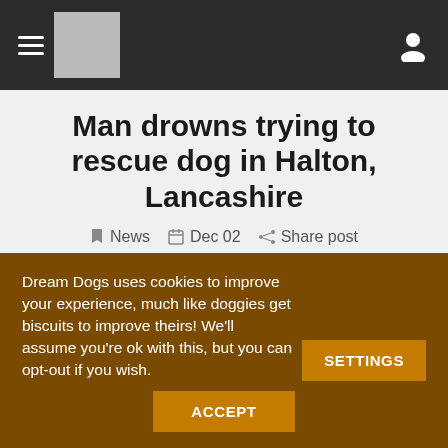Navigation bar with hamburger menu, logo, and user icon
Man drowns trying to rescue dog in Halton, Lancashire
News  Dec 02  Share post
A man has died after he jumped into a freezing river to save his dog.
Dream Dogs uses cookies to improve your experience, much like doggies get biscuits to improve theirs! We'll assume you're ok with this, but you can opt-out if you wish.  SETTINGS  ACCEPT